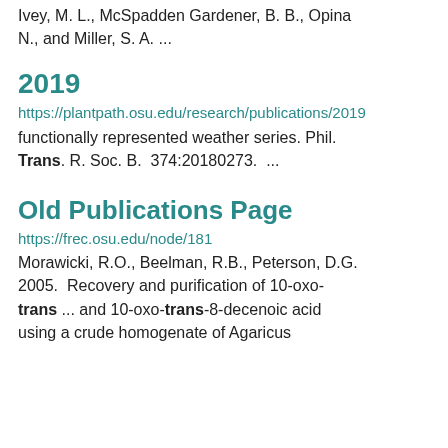Ivey, M. L., McSpadden Gardener, B. B., Opina N., and Miller, S. A. ...
2019
https://plantpath.osu.edu/research/publications/2019 functionally represented weather series. Phil. Trans. R. Soc. B. 374:20180273. ...
Old Publications Page
https://frec.osu.edu/node/181
Morawicki, R.O., Beelman, R.B., Peterson, D.G. 2005. Recovery and purification of 10-oxo-trans ... and 10-oxo-trans-8-decenoic acid using a crude homogenate of Agaricus